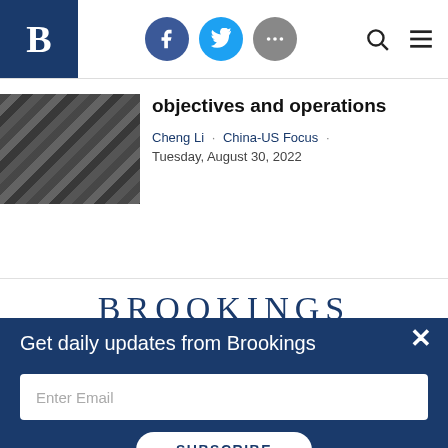Brookings Institution website header with navigation icons (Facebook, Twitter, more), search, and menu
[Figure (photo): Thumbnail photo of people in a group, dark toned]
objectives and operations
Cheng Li · China-US Focus · Tuesday, August 30, 2022
[Figure (logo): BROOKINGS wordmark in large serif navy blue letters]
Get daily updates from Brookings
Enter Email
SUBSCRIBE